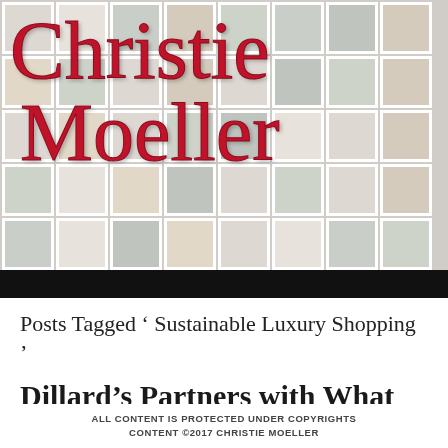[Figure (illustration): Header banner showing a photo collage / polaroid grid background with the Christie Moeller script logo overlaid in dark red/crimson cursive text]
Posts Tagged ' Sustainable Luxury Shopping '
Dillard's Partners with What Goes Around Comes Around
ALL CONTENT IS PROTECTED UNDER COPYRIGHTS CONTENT ©2017 CHRISTIE MOELLER